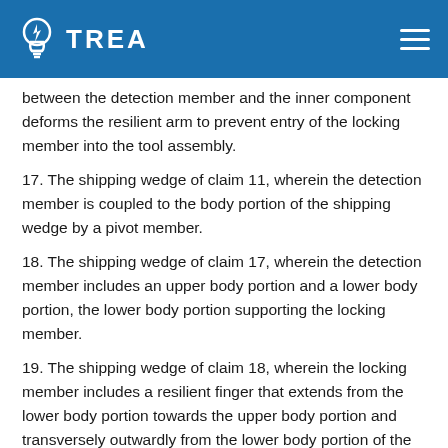TREA
between the detection member and the inner component deforms the resilient arm to prevent entry of the locking member into the tool assembly.
17. The shipping wedge of claim 11, wherein the detection member is coupled to the body portion of the shipping wedge by a pivot member.
18. The shipping wedge of claim 17, wherein the detection member includes an upper body portion and a lower body portion, the lower body portion supporting the locking member.
19. The shipping wedge of claim 18, wherein the locking member includes a resilient finger that extends from the lower body portion towards the upper body portion and transversely outwardly from the lower body portion of the locking member.
20. The shipping wedge of claim 19, wherein the lower body portion of the detection member includes an engagement surface that is positioned to engage the inner component when the shipping wedge is attached to the tool assembly, the